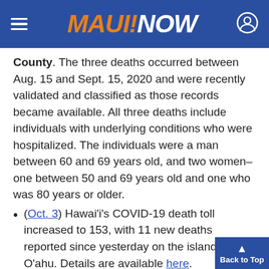MAUI NOW
County. The three deaths occurred between Aug. 15 and Sept. 15, 2020 and were recently validated and classified as those records became available. All three deaths include individuals with underlying conditions who were hospitalized. The individuals were a man between 60 and 69 years old, and two women–one between 50 and 69 years old and one who was 80 years or older.
(Oct. 3) Hawai'i's COVID-19 death toll increased to 153, with 11 new deaths reported since yesterday on the island of O'ahu. Details are available here.
(Oct. 2) Hawai'i's COVID-19 death toll increased to 142, with three new deaths reported since yesterday on the island of O'ahu. Details